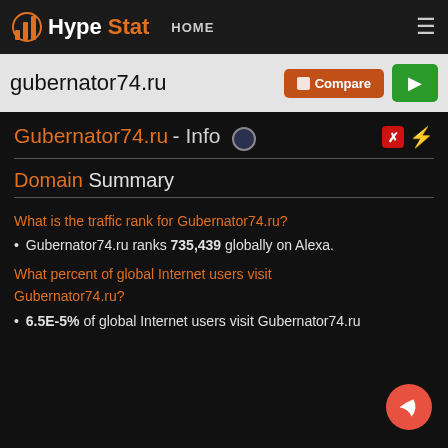HypeStat HOME
gubernator74.ru
Gubernator74.ru - Info
Domain Summary
What is the traffic rank for Gubernator74.ru?
Gubernator74.ru ranks 735,439 globally on Alexa.
What percent of global Internet users visit Gubernator74.ru?
6.5E-5% of global Internet users visit Gubernator74.ru